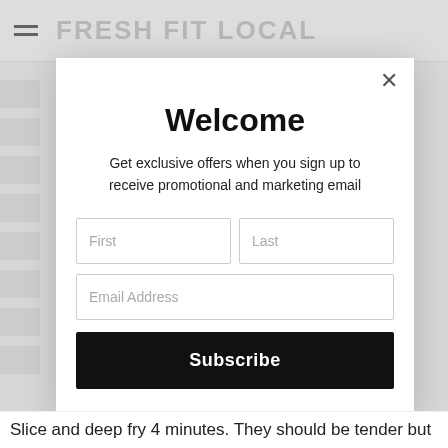FRESH FIT LOCAL
Welcome
Get exclusive offers when you sign up to receive promotional and marketing email
First
Last
Email Address
Subscribe
Slice and deep fry 4 minutes. They should be tender but